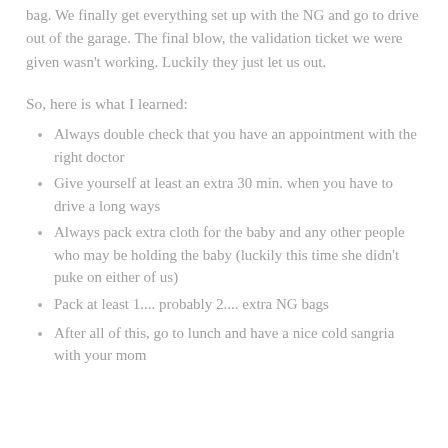bag. We finally get everything set up with the NG and go to drive out of the garage. The final blow, the validation ticket we were given wasn't working. Luckily they just let us out.
So, here is what I learned:
Always double check that you have an appointment with the right doctor
Give yourself at least an extra 30 min. when you have to drive a long ways
Always pack extra cloth for the baby and any other people who may be holding the baby (luckily this time she didn't puke on either of us)
Pack at least 1.... probably 2.... extra NG bags
After all of this, go to lunch and have a nice cold sangria with your mom